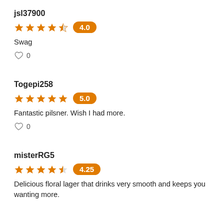jsl37900
[Figure (other): 4-star rating (4 filled stars, 1 half star, 1 empty star) with badge showing 4.0]
Swag
♡ 0
Togepi258
[Figure (other): 5-star rating (5 filled stars) with badge showing 5.0]
Fantastic pilsner. Wish I had more.
♡ 0
misterRG5
[Figure (other): 4.25-star rating (4 filled stars, 1 half star) with badge showing 4.25]
Delicious floral lager that drinks very smooth and keeps you wanting more.